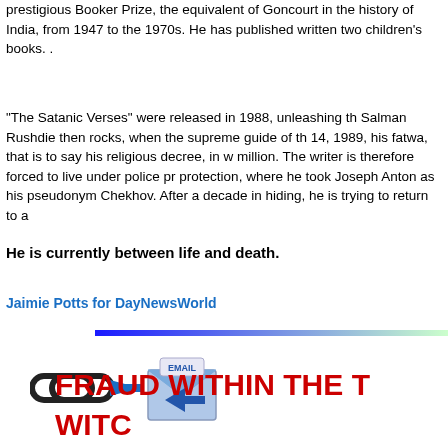prestigious Booker Prize, the equivalent of Goncourt in the history of India, from 1947 to the 1970s. He has published written two children's books. .
“The Satanic Verses” were released in 1988, unleashing the Salman Rushdie then rocks, when the supreme guide of the 14, 1989, his fatwa, that is to say his religious decree, in w million. The writer is therefore forced to live under police pr protection, where he took Joseph Anton as his pseudonym Chekhov. After a decade in hiding, he is trying to return to a
He is currently between life and death.
Jaimie Potts for DayNewsWorld
[Figure (other): Gradient horizontal bar from blue to light green]
[Figure (illustration): Chain link icon and email icon with blue arrow]
FRAUD WITHIN THE T
WITC